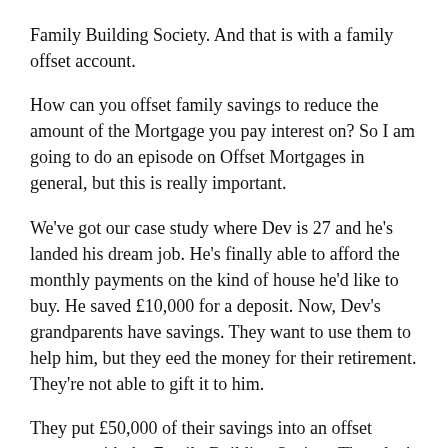Family Building Society. And that is with a family offset account.
How can you offset family savings to reduce the amount of the Mortgage you pay interest on? So I am going to do an episode on Offset Mortgages in general, but this is really important.
We've got our case study where Dev is 27 and he's landed his dream job. He's finally able to afford the monthly payments on the kind of house he'd like to buy. He saved £10,000 for a deposit. Now, Dev's grandparents have savings. They want to use them to help him, but they eed the money for their retirement. They're not able to gift it to him.
They put £50,000 of their savings into an offset account with the Family Building Society. They don't receive interest on it, which means that the benefit passes to Dev. So instead of Dev paying interest on the full